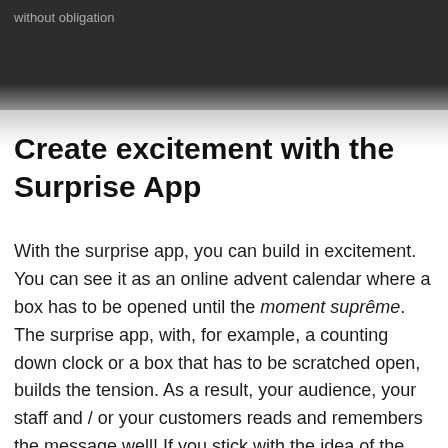without obligation
Create excitement with the Surprise App
With the surprise app, you can build in excitement. You can see it as an online advent calendar where a box has to be opened until the moment suprême. The surprise app, with, for example, a counting down clock or a box that has to be scratched open, builds the tension. As a result, your audience, your staff and / or your customers reads and remembers the message well! If you stick with the idea of the digital advent calendar for a while, you can imagine how this works at an anniversary, the start of manufacturing a new product or a completely